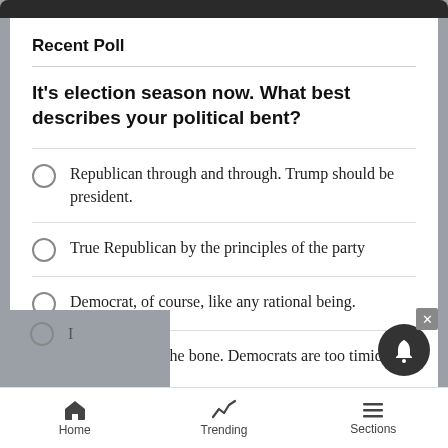Recent Poll
It's election season now. What best describes your political bent?
Republican through and through. Trump should be president.
True Republican by the principles of the party
Democrat, of course, like any rational being.
Progressive to the bone. Democrats are too timid.
I...
Home | Trending | Sections